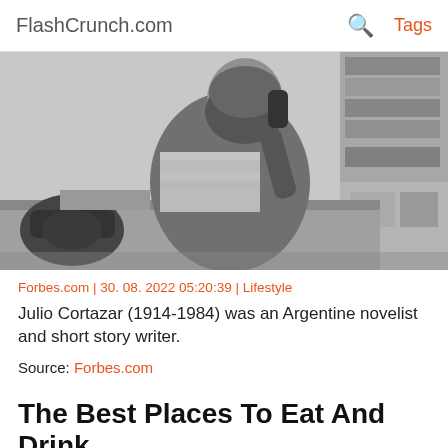FlashCrunch.com | Tags
[Figure (photo): Black and white photograph of Julio Cortazar sitting at a desk, talking on the phone, with papers and office items around him.]
Forbes.com | 30. 08. 2022 05:20:39 | Lifestyle
Julio Cortazar (1914-1984) was an Argentine novelist and short story writer.
Source: Forbes.com
The Best Places To Eat And Drink